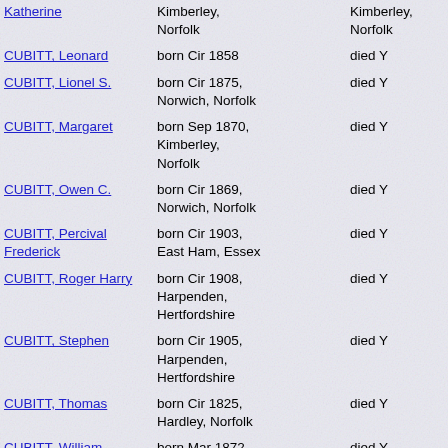| Name | Birth | Death |
| --- | --- | --- |
| Katherine | Kimberley, Norfolk | Kimberley, Norfolk |
| CUBITT, Leonard | born Cir 1858 | died Y |
| CUBITT, Lionel S. | born Cir 1875, Norwich, Norfolk | died Y |
| CUBITT, Margaret | born Sep 1870, Kimberley, Norfolk | died Y |
| CUBITT, Owen C. | born Cir 1869, Norwich, Norfolk | died Y |
| CUBITT, Percival Frederick | born Cir 1903, East Ham, Essex | died Y |
| CUBITT, Roger Harry | born Cir 1908, Harpenden, Hertfordshire | died Y |
| CUBITT, Stephen | born Cir 1905, Harpenden, Hertfordshire | died Y |
| CUBITT, Thomas | born Cir 1825, Hardley, Norfolk | died Y |
| CUBITT, William Thomas | born Mar 1872, Kimberley, Norfolk | died Y |
| CUBITT, William | born Cir 1893 | died 1935 |